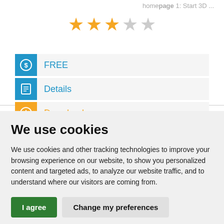homepage 1: Start 3D ...
[Figure (other): Star rating showing 3 out of 5 stars filled in orange, 2 grey]
FREE
Details
Download
We use cookies
We use cookies and other tracking technologies to improve your browsing experience on our website, to show you personalized content and targeted ads, to analyze our website traffic, and to understand where our visitors are coming from.
I agree | Change my preferences